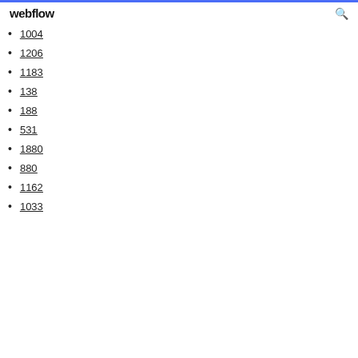webflow
1004
1206
1183
138
188
531
1880
880
1162
1033